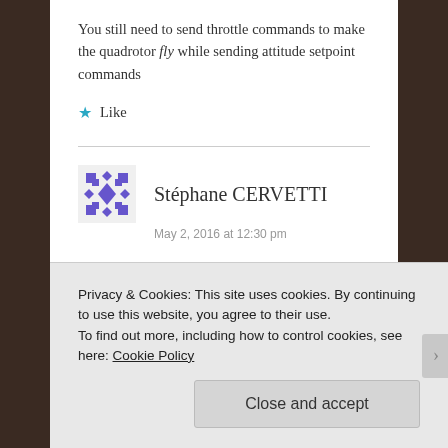You still need to send throttle commands to make the quadrotor fly while sending attitude setpoint commands
★ Like
Stéphane CERVETTI
May 2, 2016 at 12:30 pm
Privacy & Cookies: This site uses cookies. By continuing to use this website, you agree to their use.
To find out more, including how to control cookies, see here: Cookie Policy
Close and accept